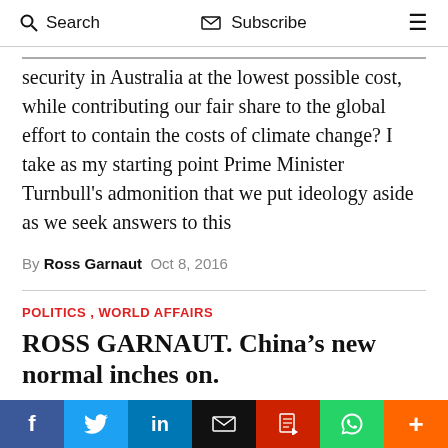Search  Subscribe  ☰
security in Australia at the lowest possible cost, while contributing our fair share to the global effort to contain the costs of climate change? I take as my starting point Prime Minister Turnbull's admonition that we put ideology aside as we seek answers to this
By Ross Garnaut  Oct 8, 2016
POLITICS , WORLD AFFAIRS
ROSS GARNAUT. China's new normal inches on.
China is undergoing profound changes in its